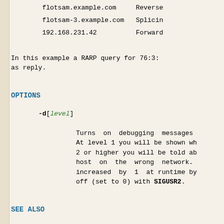flotsam.example.com    Reverse
flotsam-3.example.com  Splicin
192.168.231.42         Forward
In this example a RARP query for 76:3: as reply.
OPTIONS
-d[level]
Turns on debugging messages At level 1 you will be shown wh 2 or higher you will be told ab host on the wrong network. increased by 1 at runtime by off (set to 0) with SIGUSR2.
SEE ALSO
ifconfig(8), ethers(5), hosts(5), inet inetd(8), nonamed(8).
NOTES
A "network name" is the device name of ip0, ip1, ...